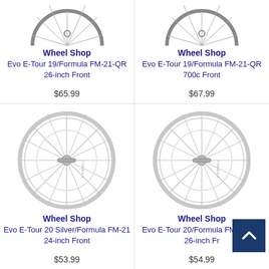[Figure (photo): Bicycle wheel top portion - Evo E-Tour 19/Formula FM-21-QR 26-inch Front]
Wheel Shop
Evo E-Tour 19/Formula FM-21-QR 26-inch Front
$65.99
[Figure (photo): Bicycle wheel top portion - Evo E-Tour 19/Formula FM-21-QR 700c Front]
Wheel Shop
Evo E-Tour 19/Formula FM-21-QR 700c Front
$67.99
[Figure (photo): Full silver bicycle wheel - Evo E-Tour 20 Silver/Formula FM-21 24-inch Front]
Wheel Shop
Evo E-Tour 20 Silver/Formula FM-21 24-inch Front
$53.99
[Figure (photo): Full silver bicycle wheel - Evo E-Tour 20/Formula FM-31-QR 26-inch Front]
Wheel Shop
Evo E-Tour 20/Formula FM-31-QR 26-inch Front
$54.99